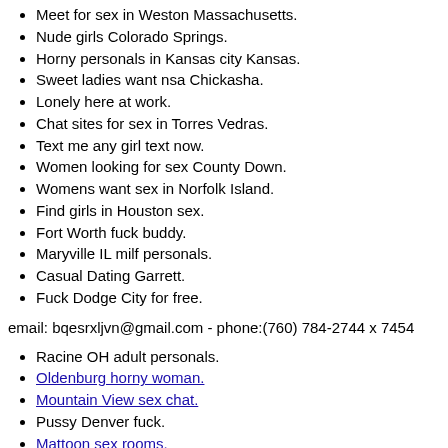Meet for sex in Weston Massachusetts.
Nude girls Colorado Springs.
Horny personals in Kansas city Kansas.
Sweet ladies want nsa Chickasha.
Lonely here at work.
Chat sites for sex in Torres Vedras.
Text me any girl text now.
Women looking for sex County Down.
Womens want sex in Norfolk Island.
Find girls in Houston sex.
Fort Worth fuck buddy.
Maryville IL milf personals.
Casual Dating Garrett.
Fuck Dodge City for free.
email: bqesrxljvn@gmail.com - phone:(760) 784-2744 x 7454
Racine OH adult personals.
Oldenburg horny woman.
Mountain View sex chat.
Pussy Denver fuck.
Mattoon sex rooms.
Erotic service Atlanta.
Monroeville IN sex dating.
Asian hottie free sex date.